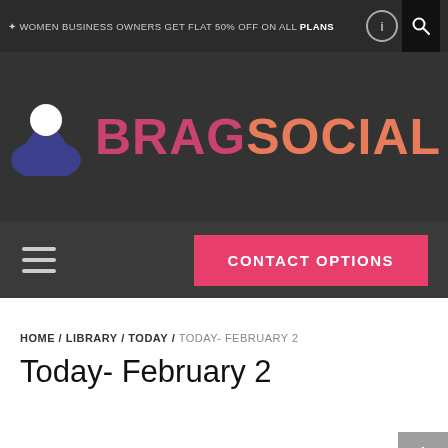✦ WOMEN BUSINESS OWNERS GET FLAT 50% OFF ON ALL PLANS
[Figure (logo): Brag Social logo: stylized person icon in dark blue with a white circle head, followed by text BRAG in pink/magenta and SOCIAL in orange]
CONTACT OPTIONS
HOME / LIBRARY / TODAY / TODAY- FEBRUARY 2
Today- February 2